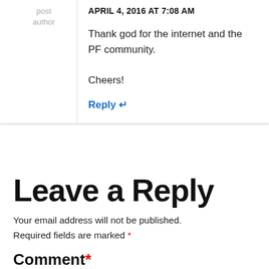post author
APRIL 4, 2016 AT 7:08 AM
Thank god for the internet and the PF community.
Cheers!
Reply ↩
Leave a Reply
Your email address will not be published.
Required fields are marked *
Comment*